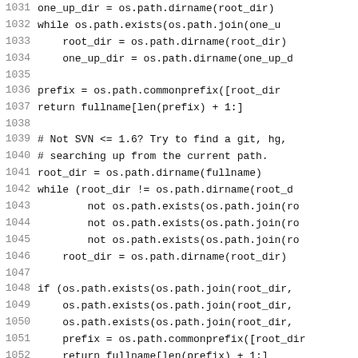Code listing lines 1031-1052 showing Python source code for SVN/git path detection